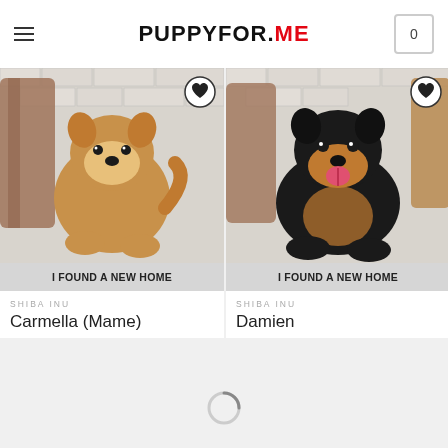PUPPYFOR.ME
[Figure (photo): A golden/tan Shiba Inu puppy sitting in front of a white brick wall with wooden decorative pieces, with a heart/favorite button overlay and 'I FOUND A NEW HOME' banner]
I FOUND A NEW HOME
SHIBA INU
Carmella (Mame)
[Figure (photo): A black and tan Shiba Inu puppy sitting in front of a white brick wall with wooden decorative pieces, tongue out, with a heart/favorite button overlay and 'I FOUND A NEW HOME' banner]
I FOUND A NEW HOME
SHIBA INU
Damien
[Figure (other): Loading spinner circle indicator]